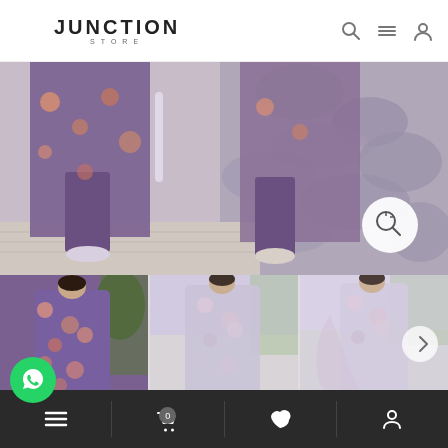[Figure (screenshot): Junction Store e-commerce website screenshot showing a clothing store with logo, navigation icons, a main product image of floral outfit (lower body close-up), three thumbnail images of women in floral outfits, WhatsApp chat button, and a bottom navigation bar.]
JUNCTION STORE
0 (cart count) — menu, cart, wishlist, account icons